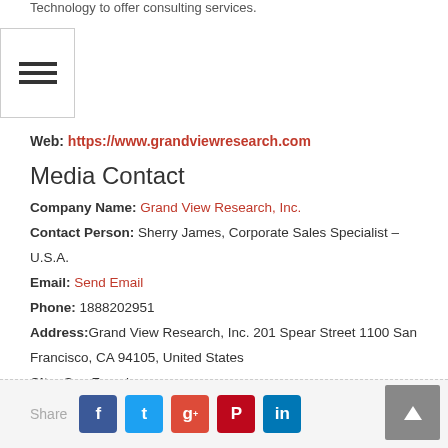Technology to offer consulting services.
[Figure (other): Hamburger menu icon with three horizontal bars]
Web: https://www.grandviewresearch.com
Media Contact
Company Name: Grand View Research, Inc.
Contact Person: Sherry James, Corporate Sales Specialist – U.S.A.
Email: Send Email
Phone: 1888202951
Address: Grand View Research, Inc. 201 Spear Street 1100 San Francisco, CA 94105, United States
City: San Francisco
State: California
Country: United States
Website: https://www.grandviewresearch.com/industry-analysis/erp-software-market
Share [Facebook] [Twitter] [Google+] [Pinterest] [LinkedIn]